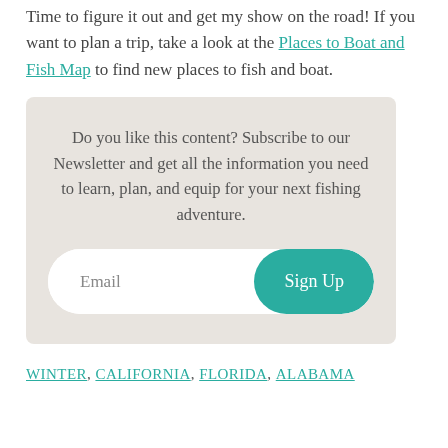Time to figure it out and get my show on the road! If you want to plan a trip, take a look at the Places to Boat and Fish Map to find new places to fish and boat.
[Figure (other): Newsletter subscription box with text 'Do you like this content? Subscribe to our Newsletter and get all the information you need to learn, plan, and equip for your next fishing adventure.' with an Email input field and a teal 'Sign Up' button.]
WINTER, CALIFORNIA, FLORIDA, ALABAMA